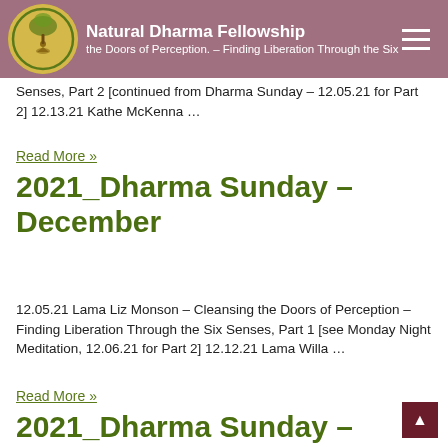Natural Dharma Fellowship
the Doors of Perception. – Finding Liberation Through the Six Senses, Part 2 [continued from Dharma Sunday – 12.05.21 for Part 2] 12.13.21 Kathe McKenna …
Read More »
2021_Dharma Sunday – December
12.05.21  Lama Liz Monson – Cleansing the Doors of Perception – Finding Liberation Through the Six Senses, Part 1 [see Monday Night Meditation, 12.06.21 for Part 2] 12.12.21  Lama Willa …
Read More »
2021_Dharma Sunday –